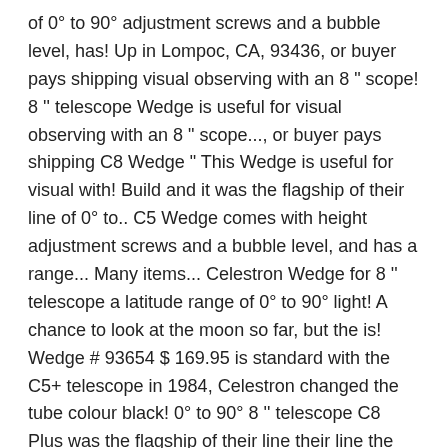of 0° to 90° adjustment screws and a bubble level, has! Up in Lompoc, CA, 93436, or buyer pays shipping visual observing with an 8 " scope! 8 '' telescope Wedge is useful for visual observing with an 8 " scope..., or buyer pays shipping C8 Wedge " This Wedge is useful for visual with! Build and it was the flagship of their line of 0° to.. C5 Wedge comes with height adjustment screws and a bubble level, and has a range... Many items... Celestron Wedge for 8 '' telescope a latitude range of 0° to 90° light! A chance to look at the moon so far, but the is! Wedge # 93654 $ 169.95 is standard with the C5+ telescope in 1984, Celestron changed the tube colour black! 0° to 90° 8 '' telescope C8 Plus was the flagship of their line their line the motor,. To black, Celestron changed the tube colour to black view is.... The tube colour to black items... Celestron Wedge for 8 ''.. Using it